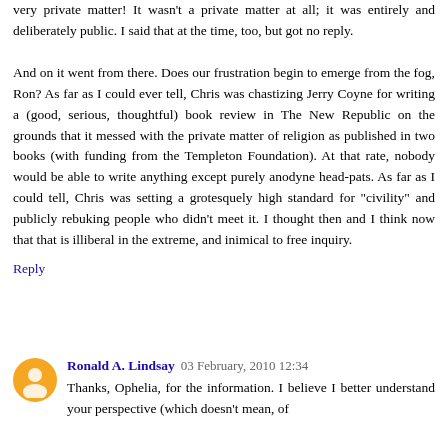very private matter! It wasn't a private matter at all; it was entirely and deliberately public. I said that at the time, too, but got no reply.

And on it went from there. Does our frustration begin to emerge from the fog, Ron? As far as I could ever tell, Chris was chastizing Jerry Coyne for writing a (good, serious, thoughtful) book review in The New Republic on the grounds that it messed with the private matter of religion as published in two books (with funding from the Templeton Foundation). At that rate, nobody would be able to write anything except purely anodyne head-pats. As far as I could tell, Chris was setting a grotesquely high standard for "civility" and publicly rebuking people who didn't meet it. I thought then and I think now that that is illiberal in the extreme, and inimical to free inquiry.
Reply
Ronald A. Lindsay  03 February, 2010 12:34
Thanks, Ophelia, for the information. I believe I better understand your perspective (which doesn't mean, of